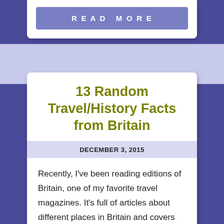READ MORE
13 Random Travel/History Facts from Britain
DECEMBER 3, 2015
Recently, I've been reading editions of Britain, one of my favorite travel magazines. It's full of articles about different places in Britain and covers heritage, culture and various happenings in the UK. It's a great magazine to read when planning a visit, which is…